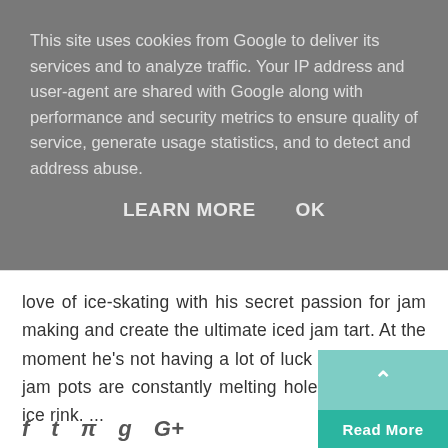This site uses cookies from Google to deliver its services and to analyze traffic. Your IP address and user-agent are shared with Google along with performance and security metrics to ensure quality of service, generate usage statistics, and to detect and address abuse.
LEARN MORE    OK
love of ice-skating with his secret passion for jam making and create the ultimate iced jam tart. At the moment he's not having a lot of luck though as his jam pots are constantly melting holes through the ice rink. ...